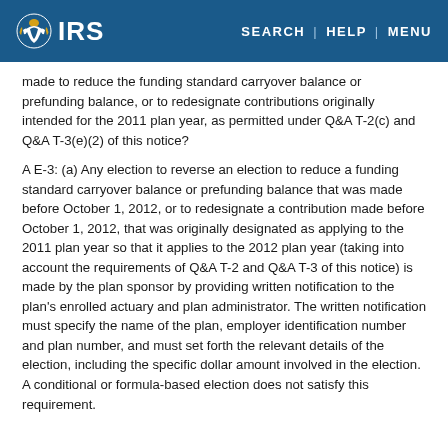IRS | SEARCH | HELP | MENU
made to reduce the funding standard carryover balance or prefunding balance, or to redesignate contributions originally intended for the 2011 plan year, as permitted under Q&A T-2(c) and Q&A T-3(e)(2) of this notice?
A E-3: (a) Any election to reverse an election to reduce a funding standard carryover balance or prefunding balance that was made before October 1, 2012, or to redesignate a contribution made before October 1, 2012, that was originally designated as applying to the 2011 plan year so that it applies to the 2012 plan year (taking into account the requirements of Q&A T-2 and Q&A T-3 of this notice) is made by the plan sponsor by providing written notification to the plan's enrolled actuary and plan administrator. The written notification must specify the name of the plan, employer identification number and plan number, and must set forth the relevant details of the election, including the specific dollar amount involved in the election. A conditional or formula-based election does not satisfy this requirement.